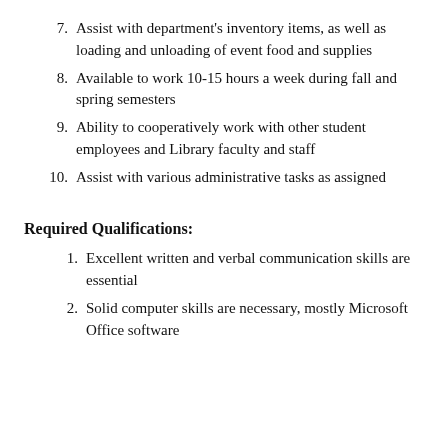7.  Assist with department's inventory items, as well as loading and unloading of event food and supplies
8.  Available to work 10-15 hours a week during fall and spring semesters
9.  Ability to cooperatively work with other student employees and Library faculty and staff
10.  Assist with various administrative tasks as assigned
Required Qualifications:
1.  Excellent written and verbal communication skills are essential
2.  Solid computer skills are necessary, mostly Microsoft Office software